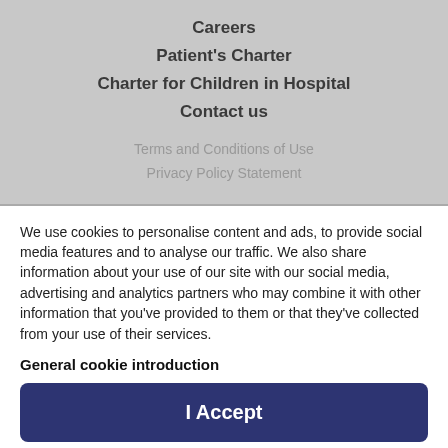Careers
Patient's Charter
Charter for Children in Hospital
Contact us
Terms and Conditions of Use
Privacy Policy Statement
We use cookies to personalise content and ads, to provide social media features and to analyse our traffic. We also share information about your use of our site with our social media, advertising and analytics partners who may combine it with other information that you've provided to them or that they've collected from your use of their services.
General cookie introduction
I Accept